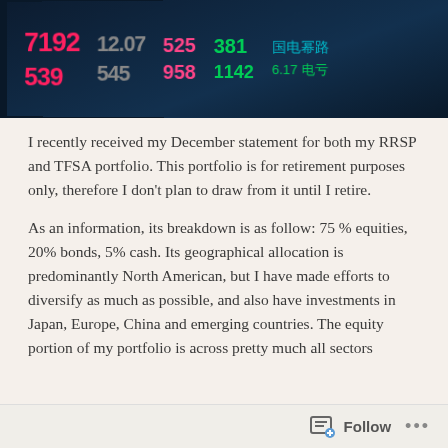[Figure (photo): Stock ticker board showing pink/red and green numbers including 7192, 12.07, 539, 545, 525, 381, 958, 1142 on a dark blue background with Chinese characters]
I recently received my December statement for both my RRSP and TFSA portfolio. This portfolio is for retirement purposes only, therefore I don't plan to draw from it until I retire.
As an information, its breakdown is as follow: 75 % equities, 20% bonds, 5% cash. Its geographical allocation is predominantly North American, but I have made efforts to diversify as much as possible, and also have investments in Japan, Europe, China and emerging countries. The equity portion of my portfolio is across pretty much all sectors
Follow ...